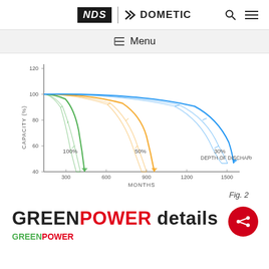NDS | DOMETIC
≡ Menu
[Figure (continuous-plot): Line chart showing battery capacity (%) over months for three depths of discharge: 100% DOD (green, ~300 months), 50% DOD (orange, ~700 months), 30% DOD (blue, ~1400 months). Each curve starts at ~100% capacity and decreases, with a spread band showing uncertainty. Y-axis: 40 to 120, X-axis: 0 to 1500.]
Fig. 2
GREENPOWER details
GREENPOWER